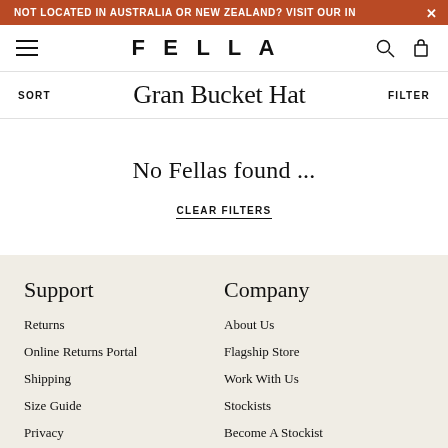NOT LOCATED IN AUSTRALIA OR NEW ZEALAND? VISIT OUR IN…
FELLA
Gran Bucket Hat
No Fellas found ...
CLEAR FILTERS
Support
Company
Returns
About Us
Online Returns Portal
Flagship Store
Shipping
Work With Us
Size Guide
Stockists
Privacy
Become A Stockist